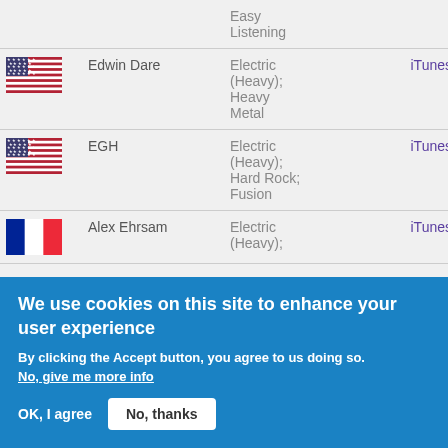| Flag | Name | Genre | Link |
| --- | --- | --- | --- |
| [US flag] |  | Easy Listening |  |
| [US flag] | Edwin Dare | Electric (Heavy); Heavy Metal | iTunes |
| [US flag] | EGH | Electric (Heavy); Hard Rock; Fusion | iTunes |
| [FR flag] | Alex Ehrsam | Electric (Heavy); | iTunes |
We use cookies on this site to enhance your user experience
By clicking the Accept button, you agree to us doing so.
No, give me more info
OK, I agree
No, thanks